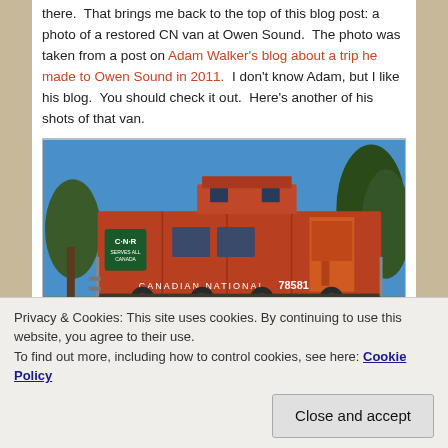there.  That brings me back to the top of this blog post: a photo of a restored CN van at Owen Sound.  The photo was taken from a post on Adam Walker's blog about a trip he made to Owen Sound in 2011.  I don't know Adam, but I like his blog.  You should check it out.  Here's another of his shots of that van.
[Figure (photo): A restored CN (Canadian National) caboose/van numbered 78581, painted red/orange, with CNR logo on the side, photographed outdoors with trees in the background against a blue sky.]
Privacy & Cookies: This site uses cookies. By continuing to use this website, you agree to their use.
To find out more, including how to control cookies, see here: Cookie Policy